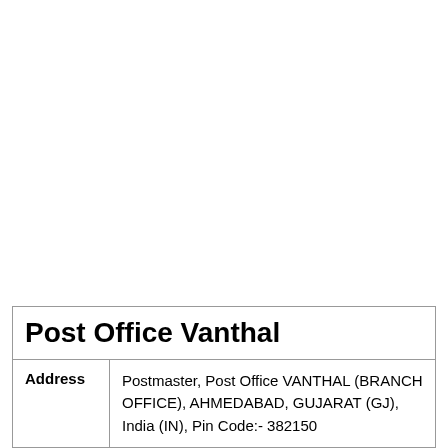| Post Office Vanthal |
| Address | Postmaster, Post Office VANTHAL (BRANCH OFFICE), AHMEDABAD, GUJARAT (GJ), India (IN), Pin Code:- 382150 |